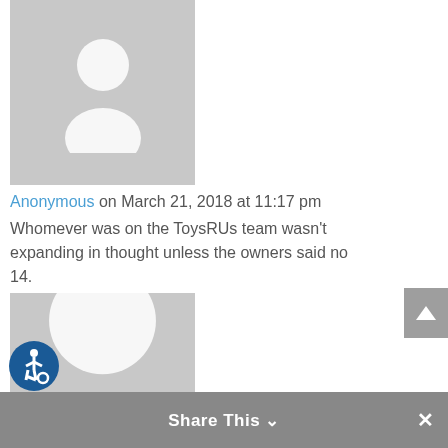[Figure (illustration): Generic anonymous user avatar — grey square with white silhouette person icon]
Anonymous on March 21, 2018 at 11:17 pm
Whomever was on the ToysRUs team wasn't expanding in thought unless the owners said no 14.
[Figure (illustration): Generic anonymous user avatar — grey square with white silhouette person icon]
Ed Troxell Creative on March 21, 2018 at 11:17 pm
Chrissie lol I know right? 15.
[Figure (illustration): Accessibility icon — blue circle with wheelchair user symbol]
Share This ∨  ×